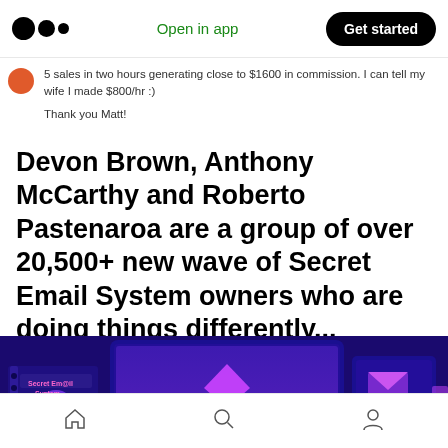Medium — Open in app | Get started
5 sales in two hours generating close to $1600 in commission. I can tell my wife I made $800/hr :)
Thank you Matt!
Devon Brown, Anthony McCarthy and Roberto Pastenaroa are a group of over 20,500+ new wave of Secret Email System owners who are doing things differently...
[Figure (photo): Product bundle showing Secret Email System book, Irresistible Offer Video Guide screen, My Secret 357,582 Lead Gen guide, and other digital products on dark purple/blue background]
Home | Search | Profile navigation icons